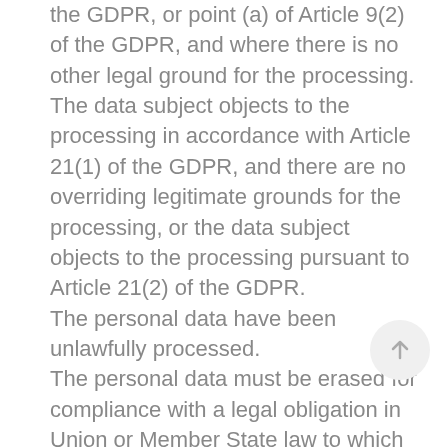the GDPR, or point (a) of Article 9(2) of the GDPR, and where there is no other legal ground for the processing. The data subject objects to the processing in accordance with Article 21(1) of the GDPR, and there are no overriding legitimate grounds for the processing, or the data subject objects to the processing pursuant to Article 21(2) of the GDPR. The personal data have been unlawfully processed. The personal data must be erased for compliance with a legal obligation in Union or Member State law to which the controller is subject. The personal data have been